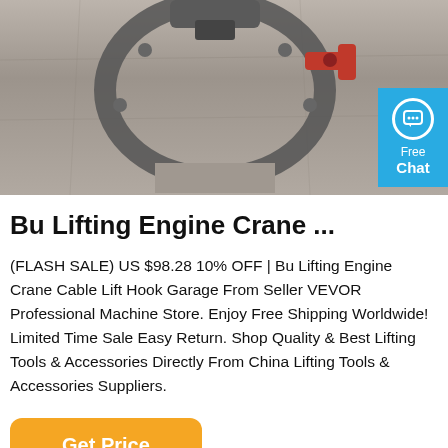[Figure (photo): Photo of a Bu Lifting Engine Crane cable lift hook on a concrete surface. A red and grey metal crane hook/clamp device is visible from above on a grey concrete background. A blue 'Free Chat' badge is overlaid in the top-right corner.]
Bu Lifting Engine Crane ...
(FLASH SALE) US $98.28 10% OFF | Bu Lifting Engine Crane Cable Lift Hook Garage From Seller VEVOR Professional Machine Store. Enjoy Free Shipping Worldwide! Limited Time Sale Easy Return. Shop Quality & Best Lifting Tools & Accessories Directly From China Lifting Tools & Accessories Suppliers.
Get Price